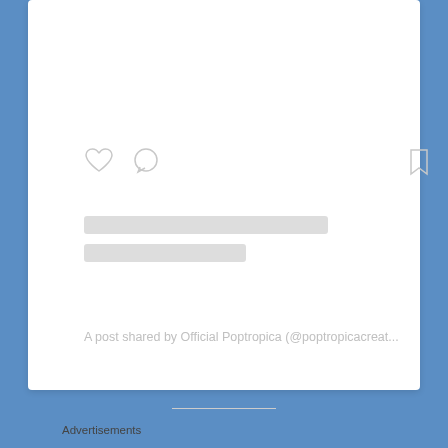[Figure (screenshot): Instagram embed card with heart icon, comment icon, bookmark icon, two grey loading skeleton bars, and a caption text reading 'A post shared by Official Poptropica (@poptropicacreat...']
A post shared by Official Poptropica (@poptropicacreat...
Advertisements
[Figure (screenshot): Parse.ly advertisement banner: 'Content Analytics Made Easy' with a green 'Get A Demo →' button and Parse.ly logo with leaf icon]
Advertisements
[Figure (screenshot): Ulta Beauty advertisement banner showing makeup photos (lips, brush, eye, Ulta logo, eye with smoky makeup) and 'SHOP NOW' text]